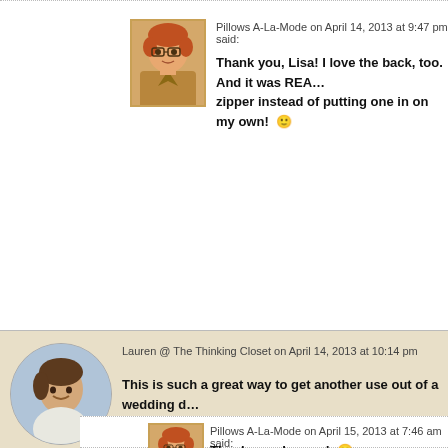Pillows A-La-Mode on April 14, 2013 at 9:47 pm said:
Thank you, Lisa! I love the back, too. And it was REAL... zipper instead of putting one in on my own! 🙂
Lauren @ The Thinking Closet on April 14, 2013 at 10:14 pm
This is such a great way to get another use out of a wedding d... more beautiful than I initially imagined! Brava!
Pillows A-La-Mode on April 15, 2013 at 7:46 am said:
Thank you, Lauren! 🙂